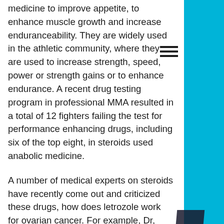medicine to improve appetite, to enhance muscle growth and increase enduranceability. They are widely used in the athletic community, where they are used to increase strength, speed, power or strength gains or to enhance endurance. A recent drug testing program in professional MMA resulted in a total of 12 fighters failing the test for performance enhancing drugs, including six of the top eight, in steroids used anabolic medicine.
A number of medical experts on steroids have recently come out and criticized these drugs, how does letrozole work for ovarian cancer. For example, Dr, how does estrogen affect muscle growth. Gary Chapman, a retired urologist, warned that AAS and other performance-enhancing drugs are "incompatible with healthy human beings and potentially very harmful to their health, based on tests on effects on human health"